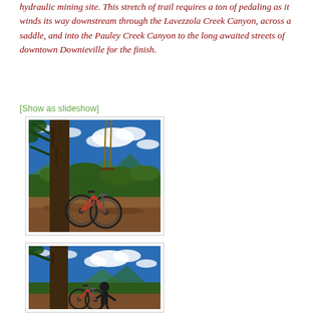hydraulic mining site. This stretch of trail requires a ton of pedaling as it winds its way downstream through the Lavezzola Creek Canyon, across a saddle, and into the Pauley Creek Canyon to the long awaited streets of downtown Downieville for the finish.
[Show as slideshow]
[Figure (photo): Mountain bike leaning against a large pine tree with a rope swing visible, overlooking a scenic mountain/forest valley under a vivid blue sky with white clouds. HDR-style photography.]
[Figure (photo): Mountain bike and a person standing next to a large pine tree, similar scenic mountain valley background under blue sky with white clouds. HDR-style photography, partially visible.]